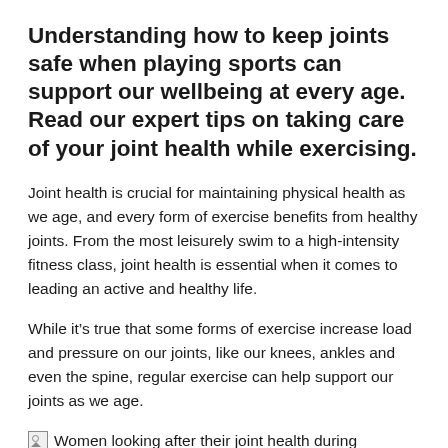Understanding how to keep joints safe when playing sports can support our wellbeing at every age. Read our expert tips on taking care of your joint health while exercising.
Joint health is crucial for maintaining physical health as we age, and every form of exercise benefits from healthy joints. From the most leisurely swim to a high-intensity fitness class, joint health is essential when it comes to leading an active and healthy life.
While it's true that some forms of exercise increase load and pressure on our joints, like our knees, ankles and even the spine, regular exercise can help support our joints as we age.
Women looking after their joint health during